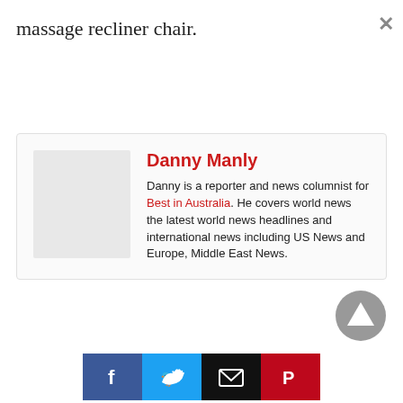massage recliner chair.
Danny Manly
Danny is a reporter and news columnist for Best in Australia. He covers world news the latest world news headlines and international news including US News and Europe, Middle East News.
[Figure (other): Scroll to top button — grey circle with upward pointing triangle/arrow]
[Figure (other): Social share buttons: Facebook (blue, f icon), Twitter (light blue, bird icon), Email (black, envelope icon), Pinterest (red, P icon)]